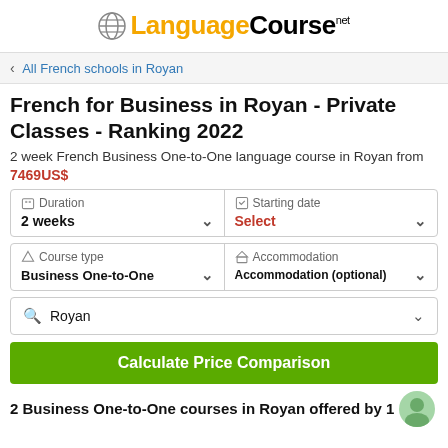[Figure (logo): LanguageCourse.net logo with globe icon, 'Language' in orange and 'Course' in black bold, '.net' superscript]
All French schools in Royan
French for Business in Royan - Private Classes - Ranking 2022
2 week French Business One-to-One language course in Royan from
7469US$
Duration: 2 weeks | Starting date: Select
Course type: Business One-to-One | Accommodation: Accommodation (optional)
Royan
Calculate Price Comparison
2 Business One-to-One courses in Royan offered by 1